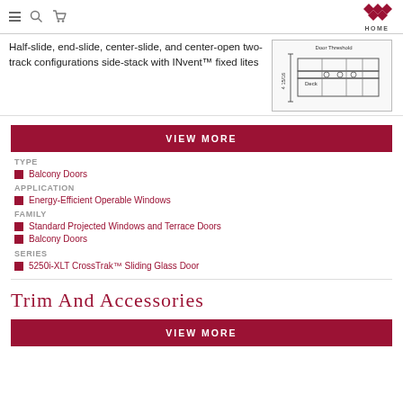HOME
Half-slide, end-slide, center-slide, and center-open two-track configurations side-stack with INvent™ fixed lites
[Figure (engineering-diagram): Technical cross-section diagram of a door threshold with dimensions, labeled 'Door Threshold' and 'Deck', showing profile of sliding glass door track system.]
VIEW MORE
TYPE
Balcony Doors
APPLICATION
Energy-Efficient Operable Windows
FAMILY
Standard Projected Windows and Terrace Doors
Balcony Doors
SERIES
5250i-XLT CrossTrak™ Sliding Glass Door
Trim And Accessories
VIEW MORE